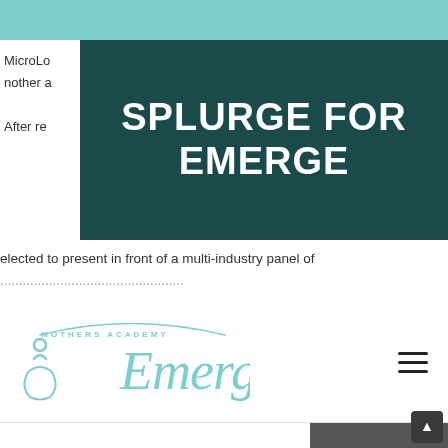[Figure (logo): Teal decorative bar at top of page]
SPLURGE FOR EMERGE
MicroLo... nother a... After re... elected to present in front of a multi-industry panel of ...
[Figure (logo): Emerge Mothers Academy logo in teal script with tagline]
he economic advancement of single mothers. Join this effort y helping to contribute to the grant fund.
[Figure (screenshot): Dark gray video/media box in lower right area of page]